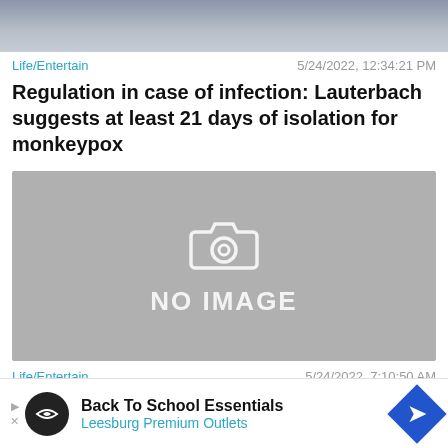[Figure (photo): Partial photo of a person in a suit, cropped at top of page]
Life/Entertain    5/24/2022, 12:34:21 PM
Regulation in case of infection: Lauterbach suggests at least 21 days of isolation for monkeypox
[Figure (photo): No image placeholder with camera icon and text NO IMAGE]
Life/Entertain    5/24/2022, 7:10:50 AM
Human-to-human transmission confir
[Figure (other): Advertisement banner: Back To School Essentials - Leesburg Premium Outlets]